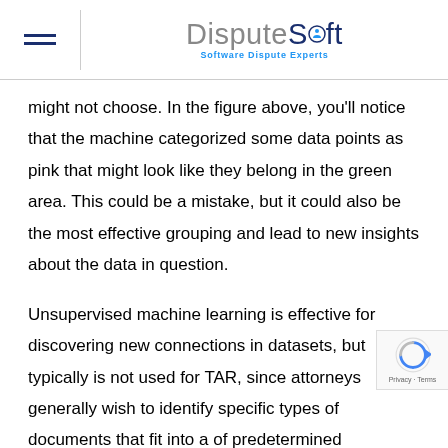DisputeSoft — Software Dispute Experts
might not choose. In the figure above, you'll notice that the machine categorized some data points as pink that might look like they belong in the green area. This could be a mistake, but it could also be the most effective grouping and lead to new insights about the data in question.
Unsupervised machine learning is effective for discovering new connections in datasets, but typically is not used for TAR, since attorneys generally wish to identify specific types of documents that fit into a set of predetermined categories when performing e-